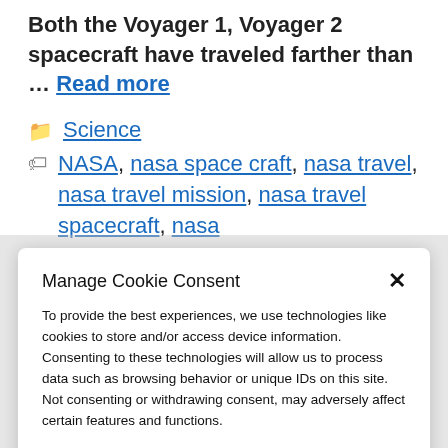Both the Voyager 1, Voyager 2 spacecraft have traveled farther than … Read more
Science
NASA, nasa space craft, nasa travel, nasa travel mission, nasa travel spacecraft, nasa
Manage Cookie Consent
To provide the best experiences, we use technologies like cookies to store and/or access device information. Consenting to these technologies will allow us to process data such as browsing behavior or unique IDs on this site. Not consenting or withdrawing consent, may adversely affect certain features and functions.
Accept
Cookie Policy